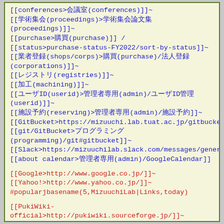[[conferences>会議室(conferences)]]~
[[学術集会(proceedings)>学術集会論文集(proceedings)]]~
[[purchase>購買(purchase)]] /
[[status>purchase-status-FY2022/sort-by-status]]~
[[業者登録(shops/corps)>購買(purchase)/法人登録(corporations)]]~
[[レジストリ(registries)]]~
[[加工(machining)]]~
[[ユーザID(userid)>管理者専用(admin)/ユーザID管理(userid)]]~
[[施設予約(reserving)>管理者専用(admin)/施設予約]]~
[[GitBucket>https://mizuuchi.lab.tuat.ac.jp/gitbucket/]],
[[git/GitBucket>プログラミング(programming)/git#gitbucket]]~
[[Slack>https://mizuuchilab.slack.com/messages/general/]]
[[about calendar>管理者専用(admin)/GoogleCalendar]]
[[Google>http://www.google.co.jp/]]~
[[Yahoo!>http://www.yahoo.co.jp/]]~
#popularjbasename(5,MizuuchiLab|Links,today)
[[PukiWiki-official>http://pukiwiki.sourceforge.jp/]]~
[[pukiwiki-developer>http://pukiwiki.sourceforge.jp/dev/]]~
[[PukiWiki Plus!>http://pukiwiki.cafelounge.net/plus/]]~
***Links [#h47512af]
[[農工大>http://www.tuat.ac.jp/]]~
[[工学府>http://www.tuat.ac.jp/department/engineering/]]~